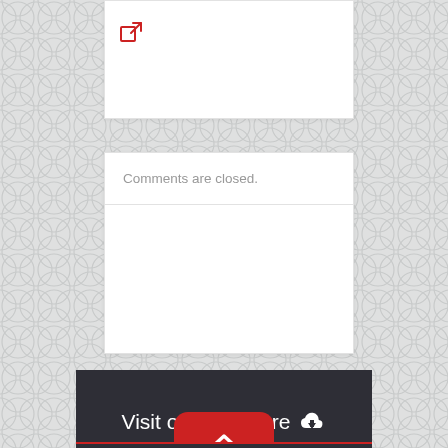[Figure (screenshot): Partial white card with a red external link icon in top-left corner]
Comments are closed.
Visit our blog here
Visit Here